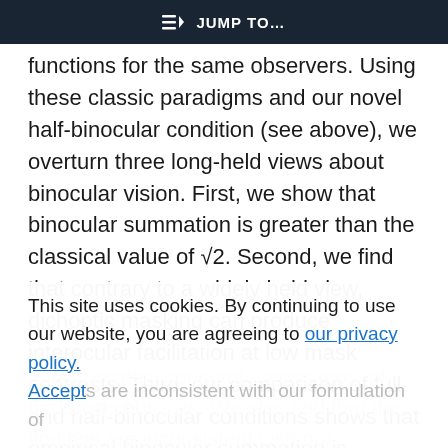JUMP TO…
functions for the same observers. Using these classic paradigms and our novel half-binocular condition (see above), we overturn three long-held views about binocular vision. First, we show that binocular summation is greater than the classical value of √2. Second, we find that contrary to a widely held view, dichoptic masking can produce interocular facilitation at low mask contrasts. Third, our comparison of full- and half-binocular conditions shows that empirical binocular summation is approximately constant across most of the range of pedestal contrasts. We also find that the first two findings are inconsistent with our formulation of Legge's model, now well as another characterization of
This site uses cookies. By continuing to use our website, you are agreeing to our privacy policy. Accept